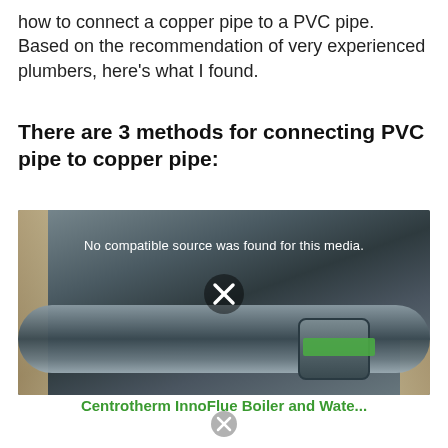how to connect a copper pipe to a PVC pipe. Based on the recommendation of very experienced plumbers, here’s what I found.
There are 3 methods for connecting PVC pipe to copper pipe:
[Figure (photo): Photo of PVC pipe connected with a fitting/coupling, showing a large grey PVC pipe with a green-labeled fitting connector, mounted between wooden beams. A video player overlay shows 'No compatible source was found for this media.' with an X button.]
Centrotherm InnoFlue Boiler and Wate...